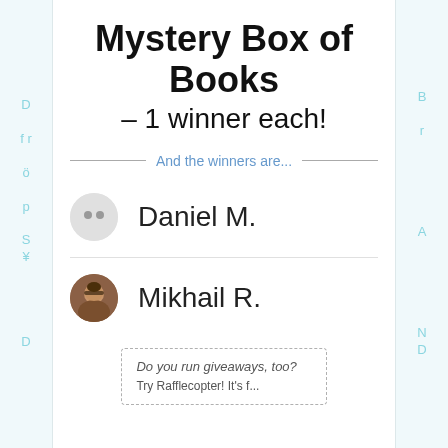Mystery Box of Books – 1 winner each!
And the winners are...
Daniel M.
Mikhail R.
Do you run giveaways, too?